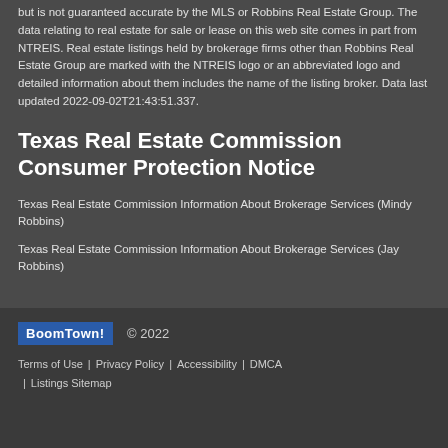but is not guaranteed accurate by the MLS or Robbins Real Estate Group. The data relating to real estate for sale or lease on this web site comes in part from NTREIS. Real estate listings held by brokerage firms other than Robbins Real Estate Group are marked with the NTREIS logo or an abbreviated logo and detailed information about them includes the name of the listing broker. Data last updated 2022-09-02T21:43:51.337.
Texas Real Estate Commission Consumer Protection Notice
Texas Real Estate Commission Information About Brokerage Services (Mindy Robbins)
Texas Real Estate Commission Information About Brokerage Services (Jay Robbins)
BoomTown! © 2022 | Terms of Use | Privacy Policy | Accessibility | DMCA | Listings Sitemap